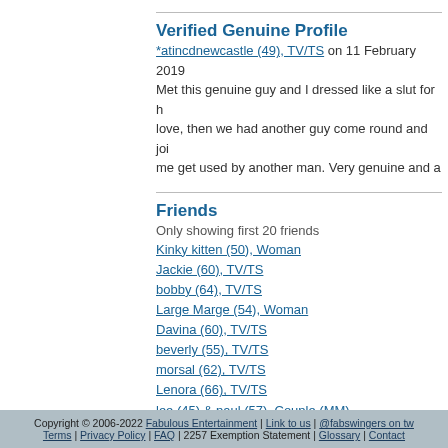Verified Genuine Profile
*atincdnewcastle (49), TV/TS on 11 February 2019. Met this genuine guy and I dressed like a slut for him love, then we had another guy come round and joined me get used by another man. Very genuine and a...
Friends
Only showing first 20 friends
Kinky kitten (50), Woman
Jackie (60), TV/TS
bobby (64), TV/TS
Large Marge (54), Woman
Davina (60), TV/TS
beverly (55), TV/TS
morsal (62), TV/TS
Lenora (66), TV/TS
lee (45) & paul (57), Couple (MM)
Anne (51), TV/TS
c (45), TV/TS
Stacy (36), TV/TS
Mandy (64), TV/TS
Whore (49), TV/TS
jt (45) & st (46), Couple
Felicity (62), TV/TS
Tina (36), TV/TS
Mrs (42) & Mr (41), Couple
a (46), TV/TS
bill (62), Man
Copyright © 2006-2022 Fabulous Entertainment | Link to us | @fabswingers on tw... Terms | Privacy Policy | FAQ | 2257 Exemption Statement | Glossary | Contact...